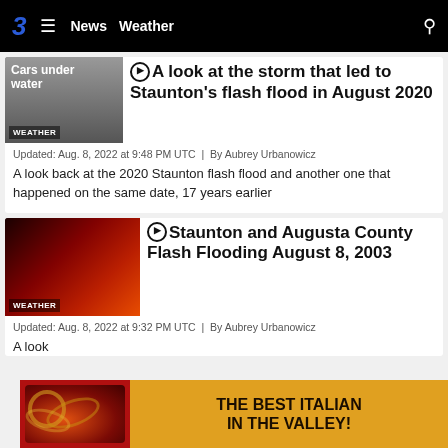3 ≡ News Weather 🔍
[Figure (screenshot): Thumbnail image showing cars under water with WEATHER label overlay]
▶ A look at the storm that led to Staunton's flash flood in August 2020
Updated: Aug. 8, 2022 at 9:48 PM UTC  |  By Aubrey Urbanowicz
A look back at the 2020 Staunton flash flood and another one that happened on the same date, 17 years earlier
[Figure (screenshot): Thumbnail image showing red-tinted flood scene with WEATHER label overlay]
▶ Staunton and Augusta County Flash Flooding August 8, 2003
Updated: Aug. 8, 2022 at 9:32 PM UTC  |  By Aubrey Urbanowicz
A look back at the 2003 flash flood...
[Figure (infographic): Advertisement banner: THE BEST ITALIAN IN THE VALLEY! with food image on left and close button]